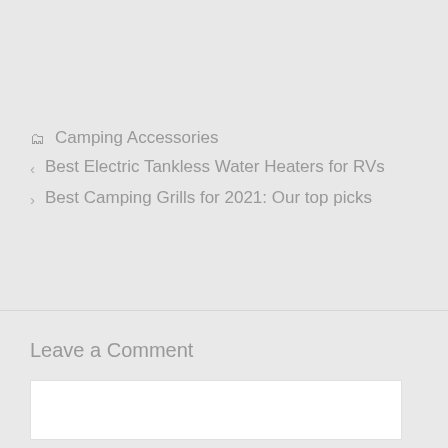🗂 Camping Accessories
‹ Best Electric Tankless Water Heaters for RVs
› Best Camping Grills for 2021: Our top picks
Leave a Comment